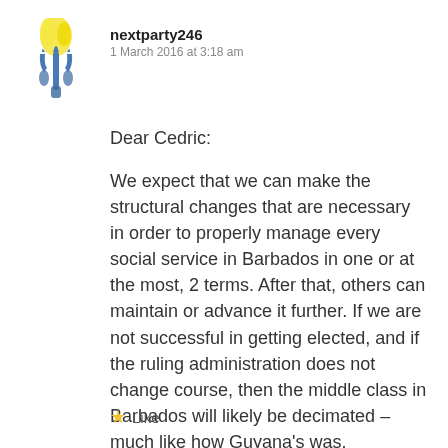[Figure (logo): Yellow and blue trident/hand logo for nextparty246]
nextparty246
1 March 2016 at 3:18 am
Dear Cedric:
We expect that we can make the structural changes that are necessary in order to properly manage every social service in Barbados in one or at the most, 2 terms. After that, others can maintain or advance it further. If we are not successful in getting elected, and if the ruling administration does not change course, then the middle class in Barbados will likely be decimated – much like how Guyana's was.
Like